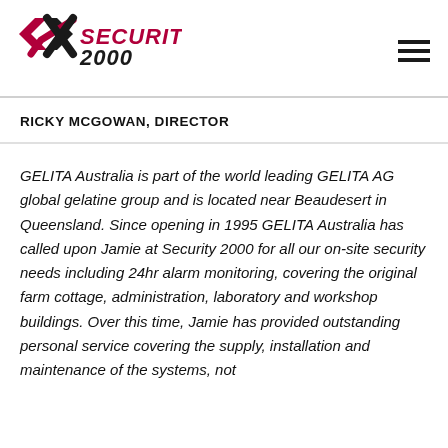[Figure (logo): Security 2000 logo with stylized X mark in red and black, and the text SECURITY2000 in bold with italic style]
RICKY MCGOWAN, DIRECTOR
GELITA Australia is part of the world leading GELITA AG global gelatine group and is located near Beaudesert in Queensland. Since opening in 1995 GELITA Australia has called upon Jamie at Security 2000 for all our on-site security needs including 24hr alarm monitoring, covering the original farm cottage, administration, laboratory and workshop buildings. Over this time, Jamie has provided outstanding personal service covering the supply, installation and maintenance of the systems, not